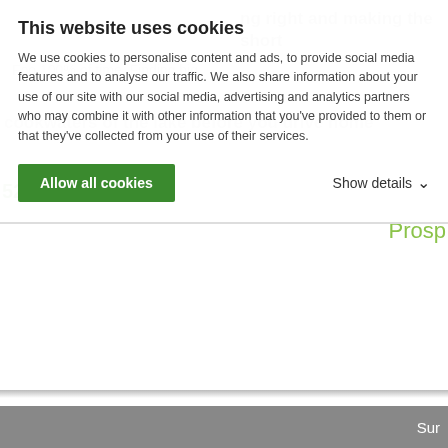This website uses cookies
We use cookies to personalise content and ads, to provide social media features and to analyse our traffic. We also share information about your use of our site with our social media, advertising and analytics partners who may combine it with other information that you've provided to them or that they've collected from your use of their services.
Allow all cookies
Show details